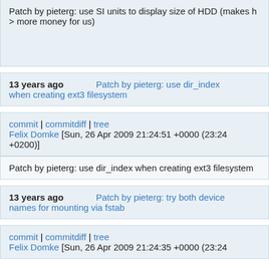Patch by pieterg: use SI units to display size of HDD (makes h > more money for us)
13 years ago    Patch by pieterg: use dir_index when creating ext3 filesystem
commit | commitdiff | tree
Felix Domke [Sun, 26 Apr 2009 21:24:51 +0000 (23:24 +0200)]
Patch by pieterg: use dir_index when creating ext3 filesystem
13 years ago    Patch by pieterg: try both device names for mounting via fstab
commit | commitdiff | tree
Felix Domke [Sun, 26 Apr 2009 21:24:35 +0000 (23:24